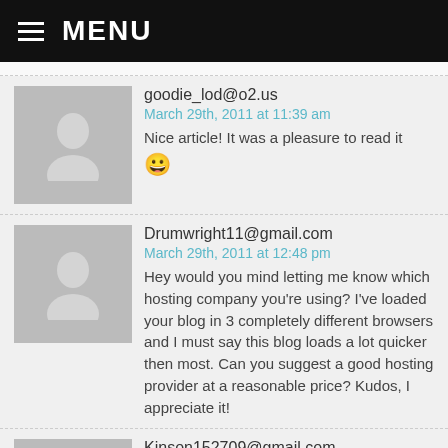MENU
goodie_lod@o2.us
March 29th, 2011 at 11:39 am
Nice article! It was a pleasure to read it 😀
Drumwright11@gmail.com
March 29th, 2011 at 12:48 pm
Hey would you mind letting me know which hosting company you're using? I've loaded your blog in 3 completely different browsers and I must say this blog loads a lot quicker then most. Can you suggest a good hosting provider at a reasonable price? Kudos, I appreciate it!
Kinson152709@gmail.com
March 29th, 2011 at 1:39 pm
The thing i like about your blog is that you always post direct to the point info."-":..